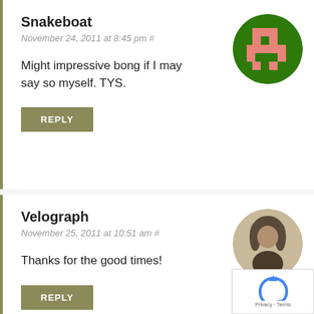Snakeboat
November 24, 2011 at 8:45 pm #
[Figure (illustration): Pixel art avatar on green circle background, showing a pink/salmon colored pixel character]
Might impressive bong if I may say so myself. TYS.
REPLY
Velograph
November 25, 2011 at 10:51 am #
[Figure (photo): Circular photo of a person with long curly hair, old-fashioned sepia portrait]
Thanks for the good times!